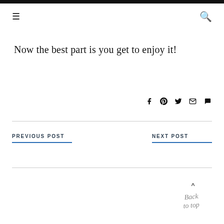≡  🔍
Now the best part is you get to enjoy it!
[Figure (other): Social sharing icons: Facebook, Pinterest, Twitter, Email, Comment]
PREVIOUS POST
NEXT POST
[Figure (other): Back to top button with cursive script text and caret arrow]